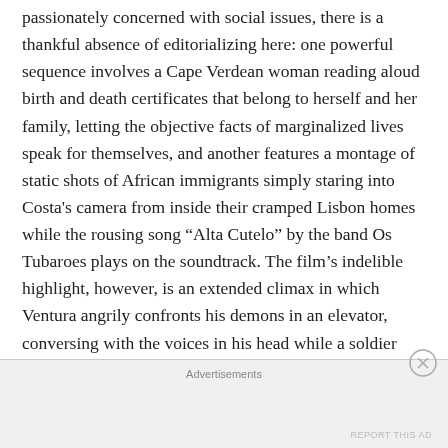passionately concerned with social issues, there is a thankful absence of editorializing here: one powerful sequence involves a Cape Verdean woman reading aloud birth and death certificates that belong to herself and her family, letting the objective facts of marginalized lives speak for themselves, and another features a montage of static shots of African immigrants simply staring into Costa's camera from inside their cramped Lisbon homes while the rousing song “Alta Cutelo” by the band Os Tubaroes plays on the soundtrack. The film’s indelible highlight, however, is an extended climax in which Ventura angrily confronts his demons in an elevator, conversing with the voices in his head while a soldier holding a rifle behind him looks on in silence. This “exorcism,” a scene
Advertisements